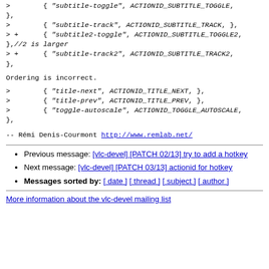>        { "subtitle-toggle", ACTIONID_SUBTITLE_TOGGLE,
},
>        { "subtitle-track", ACTIONID_SUBTITLE_TRACK, },
> +      { "subtitle2-toggle", ACTIONID_SUBTITLE_TOGGLE2,
},//2 is larger
> +      { "subtitle-track2", ACTIONID_SUBTITLE_TRACK2,
},
Ordering is incorrect.
>        { "title-next", ACTIONID_TITLE_NEXT, },
>        { "title-prev", ACTIONID_TITLE_PREV, },
>        { "toggle-autoscale", ACTIONID_TOGGLE_AUTOSCALE,
},
--
Rémi Denis-Courmont
http://www.remlab.net/
Previous message: [vlc-devel] [PATCH 02/13] try to add a hotkey
Next message: [vlc-devel] [PATCH 03/13] actionid for hotkey
Messages sorted by: [ date ] [ thread ] [ subject ] [ author ]
More information about the vlc-devel mailing list